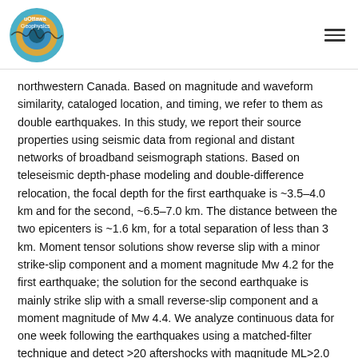uOttawa Geophysics
northwestern Canada. Based on magnitude and waveform similarity, cataloged location, and timing, we refer to them as double earthquakes. In this study, we report their source properties using seismic data from regional and distant networks of broadband seismograph stations. Based on teleseismic depth-phase modeling and double-difference relocation, the focal depth for the first earthquake is ~3.5–4.0 km and for the second, ~6.5–7.0 km. The distance between the two epicenters is ~1.6 km, for a total separation of less than 3 km. Moment tensor solutions show reverse slip with a minor strike-slip component and a moment magnitude Mw 4.2 for the first earthquake; the solution for the second earthquake is mainly strike slip with a small reverse-slip component and a moment magnitude of Mw 4.4. We analyze continuous data for one week following the earthquakes using a matched-filter technique and detect >20 aftershocks with magnitude ML>2.0 that were previously missed in routine network detections. Combined with observed structural fabric, these results suggest that the eastern part of the NCC represents a